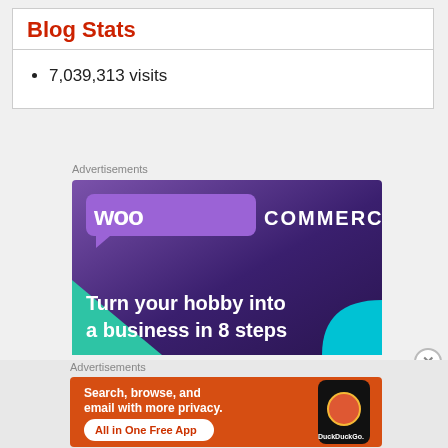Blog Stats
7,039,313 visits
Advertisements
[Figure (illustration): WooCommerce advertisement: 'Turn your hobby into a business in 8 steps' on purple/dark background with teal and cyan accents]
[Figure (illustration): DuckDuckGo advertisement: 'Search, browse, and email with more privacy. All in One Free App' on orange background with phone graphic]